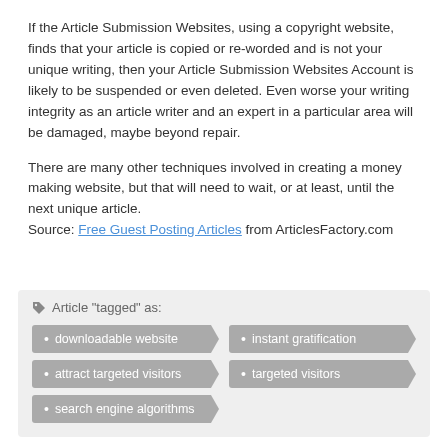If the Article Submission Websites, using a copyright website, finds that your article is copied or re-worded and is not your unique writing, then your Article Submission Websites Account is likely to be suspended or even deleted. Even worse your writing integrity as an article writer and an expert in a particular area will be damaged, maybe beyond repair.
There are many other techniques involved in creating a money making website, but that will need to wait, or at least, until the next unique article.
Source: Free Guest Posting Articles from ArticlesFactory.com
Article "tagged" as:
downloadable website
instant gratification
attract targeted visitors
targeted visitors
search engine algorithms